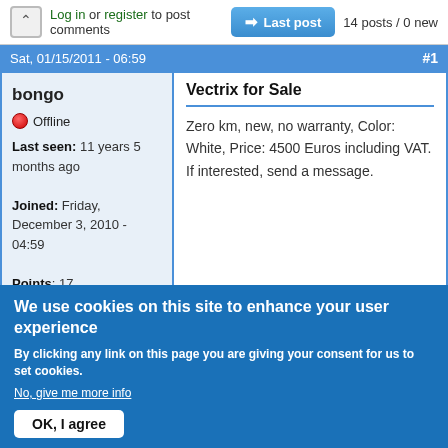Log in or register to post comments   Last post   14 posts / 0 new
Sat, 01/15/2011 - 06:59   #1
| bongo
Offline
Last seen: 11 years 5 months ago
Joined: Friday, December 3, 2010 - 04:59
Points: 17 | Vectrix for Sale
Zero km, new, no warranty, Color: White, Price: 4500 Euros including VAT. If interested, send a message. |
Top
We use cookies on this site to enhance your user experience
By clicking any link on this page you are giving your consent for us to set cookies.
No, give me more info
OK, I agree